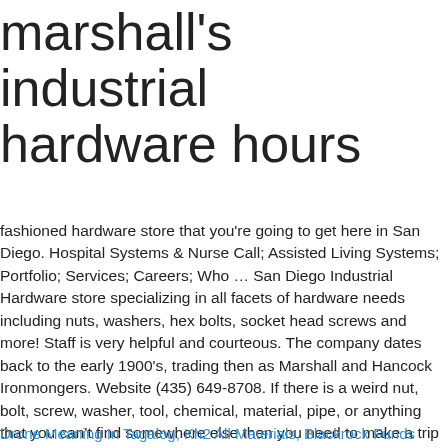marshall's industrial hardware hours
fashioned hardware store that you're going to get here in San Diego. Hospital Systems & Nurse Call; Assisted Living Systems; Portfolio; Services; Careers; Who … San Diego Industrial Hardware store specializing in all facets of hardware needs including nuts, washers, hex bolts, socket head screws and more! Staff is very helpful and courteous. The company dates back to the early 1900's, trading then as Marshall and Hancock Ironmongers. Website (435) 649-8708. If there is a weird nut, bolt, screw, washer, tool, chemical, material, pipe, or anything that you can't find somewhere else then you need to make a trip to Marshall's Industrial Hardware my friend. or. Log In. When you work in a field that's always changing and evolving, you get to do something new almost every day. Shop for brands that wow at prices that thrill. 1. See 4 photos and 1 tip from 158 visitors to Marshall's Industrial Hardware.
Drone Meaning In Tagalog, Kh2 All Materials, Blackrock Funds